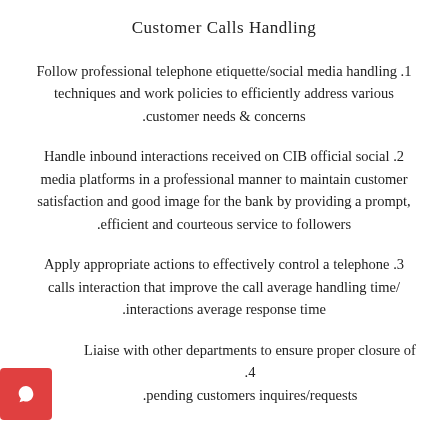Customer Calls Handling
1. Follow professional telephone etiquette/social media handling techniques and work policies to efficiently address various customer needs & concerns.
2. Handle inbound interactions received on CIB official social media platforms in a professional manner to maintain customer satisfaction and good image for the bank by providing a prompt, efficient and courteous service to followers.
3. Apply appropriate actions to effectively control a telephone calls interaction that improve the call average handling time/ interactions average response time.
4. Liaise with other departments to ensure proper closure of pending customers inquires/requests.